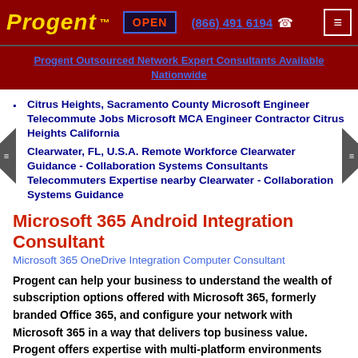Progent ™   OPEN   (866) 491 6194   ☎
Progent Outsourced Network Expert Consultants Available Nationwide
Citrus Heights, Sacramento County Microsoft Engineer Telecommute Jobs Microsoft MCA Engineer Contractor Citrus Heights California
Clearwater, FL, U.S.A. Remote Workforce Clearwater Guidance - Collaboration Systems Consultants Telecommuters Expertise nearby Clearwater - Collaboration Systems Guidance
Microsoft 365 Android Integration Consultant
Microsoft 365 OneDrive Integration Computer Consultant
Progent can help your business to understand the wealth of subscription options offered with Microsoft 365, formerly branded Office 365, and configure your network with Microsoft 365 in a way that delivers top business value. Progent offers expertise with multi-platform environments that incorporate